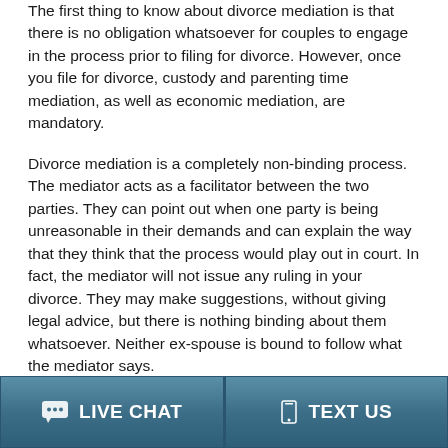The first thing to know about divorce mediation is that there is no obligation whatsoever for couples to engage in the process prior to filing for divorce. However, once you file for divorce, custody and parenting time mediation, as well as economic mediation, are mandatory.
Divorce mediation is a completely non-binding process. The mediator acts as a facilitator between the two parties. They can point out when one party is being unreasonable in their demands and can explain the way that they think that the process would play out in court. In fact, the mediator will not issue any ruling in your divorce. They may make suggestions, without giving legal advice, but there is nothing binding about them whatsoever. Neither ex-spouse is bound to follow what the mediator says.
LIVE CHAT | TEXT US